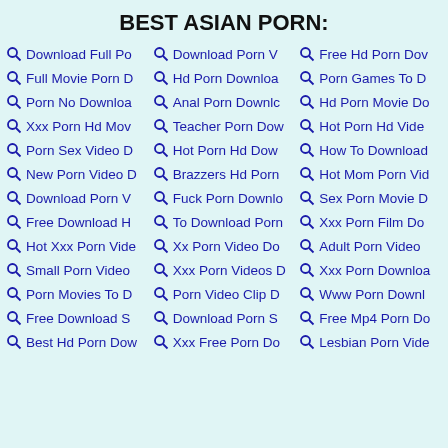BEST ASIAN PORN:
Download Full Po
Download Porn V
Free Hd Porn Dow
Full Movie Porn D
Hd Porn Downloa
Porn Games To D
Porn No Downloa
Anal Porn Downlo
Hd Porn Movie Do
Xxx Porn Hd Mov
Teacher Porn Dow
Hot Porn Hd Vide
Porn Sex Video D
Hot Porn Hd Dow
How To Download
New Porn Video D
Brazzers Hd Porn
Hot Mom Porn Vid
Download Porn V
Fuck Porn Downlo
Sex Porn Movie D
Free Download H
To Download Porn
Xxx Porn Film Do
Hot Xxx Porn Vide
Xx Porn Video Do
Adult Porn Video
Small Porn Video
Xxx Porn Videos D
Xxx Porn Downloa
Porn Movies To D
Porn Video Clip D
Www Porn Downl
Free Download S
Download Porn S
Free Mp4 Porn Do
Best Hd Porn Dow
Xxx Free Porn Do
Lesbian Porn Vide